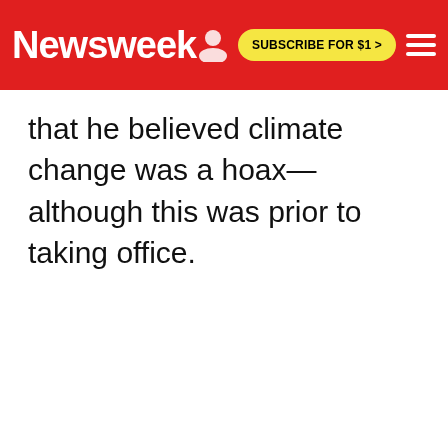Newsweek | SUBSCRIBE FOR $1 >
that he believed climate change was a hoax—although this was prior to taking office.